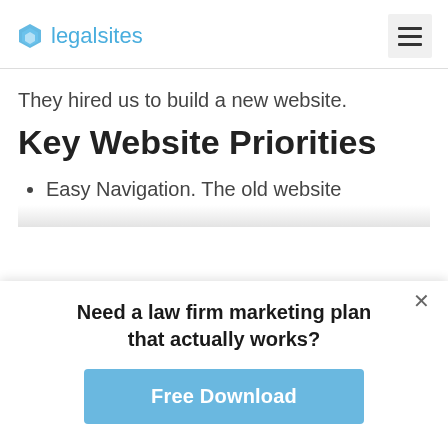legalsites
They hired us to build a new website.
Key Website Priorities
Easy Navigation. The old website
Need a law firm marketing plan that actually works?
Free Download